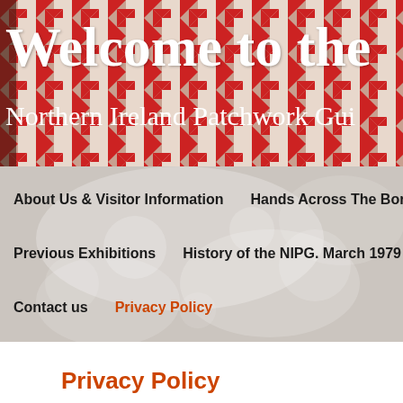[Figure (photo): Header banner with red and white quilt/patchwork pattern background, 'Welcome to the' in large white serif font, 'Northern Ireland Patchwork Gui' in smaller white serif font below]
[Figure (photo): Navigation menu area with blurred white bas-relief sculptural background showing decorative swirling patterns. Menu items in bold black sans-serif: 'About Us & Visitor Information', 'Hands Across The Border', 'Previous Exhibitions', 'History of the NIPG. March 1979 –', 'Contact us', and 'Privacy Policy' in orange.]
Privacy Policy